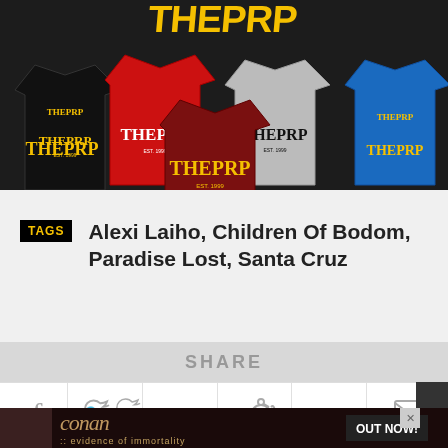[Figure (photo): Banner image showing multiple THEPRP branded t-shirts in various colors (black, red, maroon, grey, blue) with yellow and white logo text on a dark background]
TAGS  Alexi Laiho, Children Of Bodom, Paradise Lost, Santa Cruz
SHARE
[Figure (infographic): Social sharing icons row: Facebook, Twitter, Google+, Reddit, Tumblr, Email]
[Figure (photo): Bottom advertisement banner for Conan 'Evidence of Immortality' - OUT NOW!]